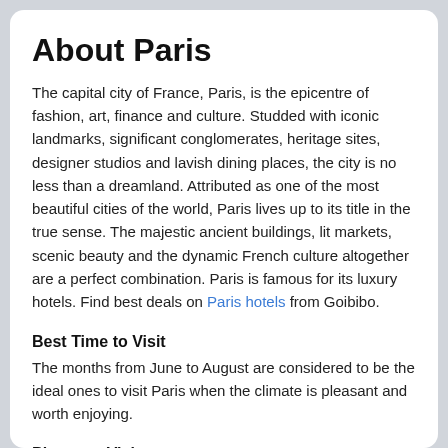About Paris
The capital city of France, Paris, is the epicentre of fashion, art, finance and culture. Studded with iconic landmarks, significant conglomerates, heritage sites, designer studios and lavish dining places, the city is no less than a dreamland. Attributed as one of the most beautiful cities of the world, Paris lives up to its title in the true sense. The majestic ancient buildings, lit markets, scenic beauty and the dynamic French culture altogether are a perfect combination. Paris is famous for its luxury hotels. Find best deals on Paris hotels from Goibibo.
Best Time to Visit
The months from June to August are considered to be the ideal ones to visit Paris when the climate is pleasant and worth enjoying.
Places to Visit
Eiffel Tower is the star attraction of the city that becomes a picture-perfect and obligatory spot for travelers to visit. Louvre